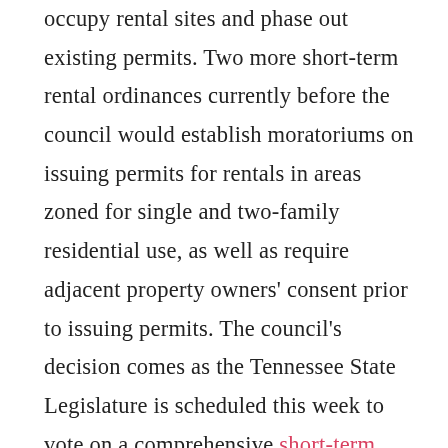occupy rental sites and phase out existing permits. Two more short-term rental ordinances currently before the council would establish moratoriums on issuing permits for rentals in areas zoned for single and two-family residential use, as well as require adjacent property owners' consent prior to issuing permits. The council's decision comes as the Tennessee State Legislature is scheduled this week to vote on a comprehensive short-term rental bill that would prohibit localities from banning short-term rentals, among other regulations. The Tennessean reports that the bill sponsor is attempting to amend to the bill to only prohibit the state's four largest cities (including Nashville) from enacting such bans. Knoxville, another city that would